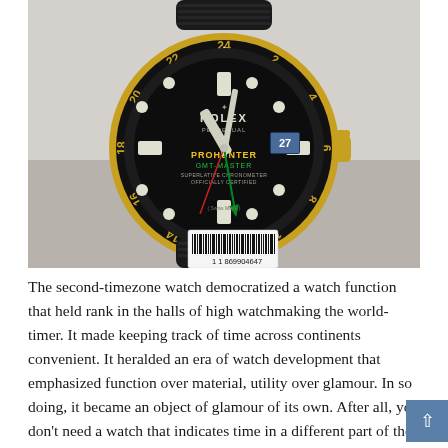[Figure (photo): Close-up photograph of a Rolex Perpetual ProHunter GMT-Master watch with a black DLC-coated case and gold bezel with black ceramic insert. The watch face is black with gold and white hour markers, a green GMT hand, and a date window showing 27. A barcode tag reading '1 1 869904647' is visible on the strap.]
The second-timezone watch democratized a watch function that held rank in the halls of high watchmaking the world-timer. It made keeping track of time across continents convenient. It heralded an era of watch development that emphasized function over material, utility over glamour. In so doing, it became an object of glamour of its own. After all, you don't need a watch that indicates time in a different part of the world unless you're a